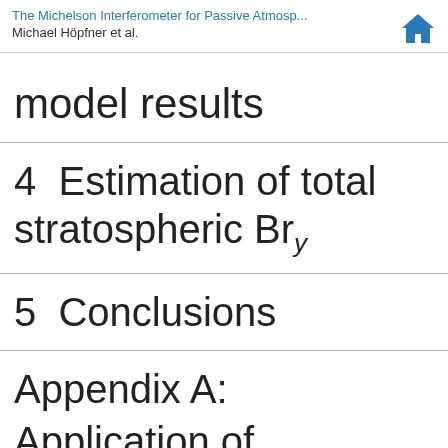The Michelson Interferometer for Passive Atmosp...
Michael Höpfner et al.
model results
4  Estimation of total stratospheric Bry
5  Conclusions
Appendix A:
Application of